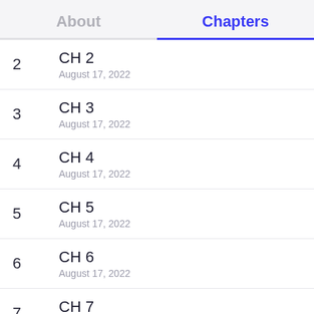About   Chapters
2  CH 2  August 17, 2022
3  CH 3  August 17, 2022
4  CH 4  August 17, 2022
5  CH 5  August 17, 2022
6  CH 6  August 17, 2022
7  CH 7  August 17, 2022
8  CH 8  August 17, 2022